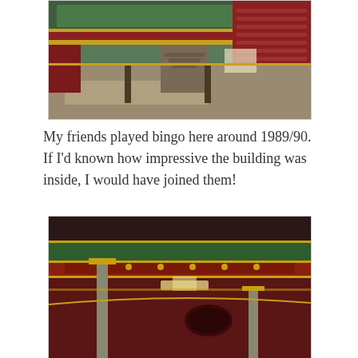[Figure (photo): Interior of an ornate abandoned theatre/bingo hall showing decorative balcony with green, red, and gold ornamentation, debris on the floor, and exposed structural elements.]
My friends played bingo here around 1989/90. If I’d known how impressive the building was inside, I would have joined them!
[Figure (photo): Close-up interior photo of ornate theatre ceiling and balcony facade with gold, green and red decorative mouldings and columns, taken in low light.]